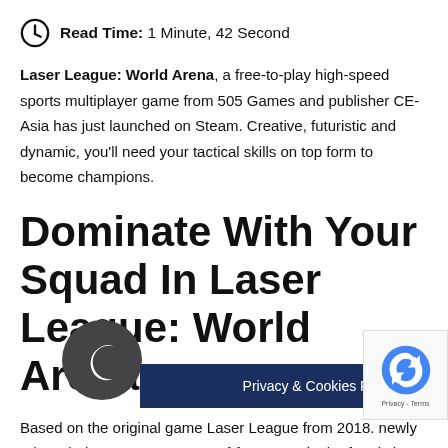Read Time: 1 Minute, 42 Second
Laser League: World Arena, a free-to-play high-speed sports multiplayer game from 505 Games and publisher CE-Asia has just launched on Steam. Creative, futuristic and dynamic, you'll need your tactical skills on top form to become champions.
Dominate With Your Squad In Laser League: World Arena
Based on the original game Laser League from 2018. newly rebranded Laser League: World Arena set in the futuristic se... bout